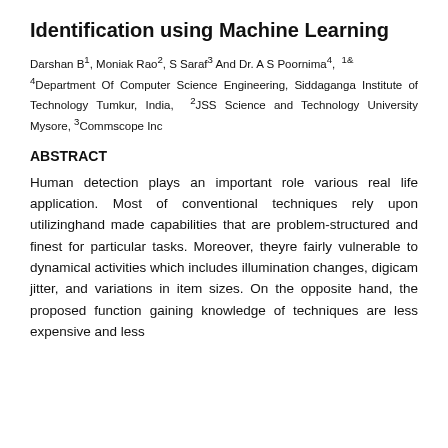Identification using Machine Learning
Darshan B¹, Moniak Rao², S Saraf³ And Dr. A S Poornima⁴, ¹⁸ ⁴Department Of Computer Science Engineering, Siddaganga Institute of Technology Tumkur, India, ²JSS Science and Technology University Mysore, ³Commscope Inc
ABSTRACT
Human detection plays an important role various real life application. Most of conventional techniques rely upon utilizinghand made capabilities that are problem-structured and finest for particular tasks. Moreover, theyre fairly vulnerable to dynamical activities which includes illumination changes, digicam jitter, and variations in item sizes. On the opposite hand, the proposed function gaining knowledge of techniques are less expensive and less